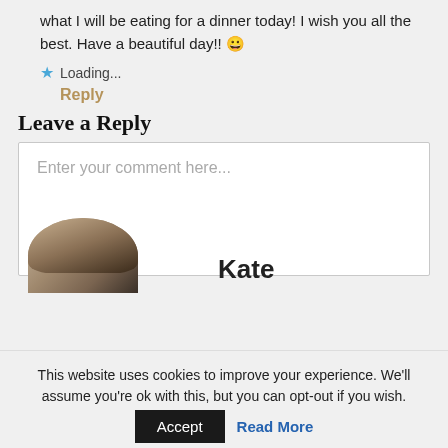what I will be eating for a dinner today! I wish you all the best. Have a beautiful day!! 😀
★ Loading...
Reply
Leave a Reply
Enter your comment here...
Kate
This website uses cookies to improve your experience. We'll assume you're ok with this, but you can opt-out if you wish.
Accept   Read More